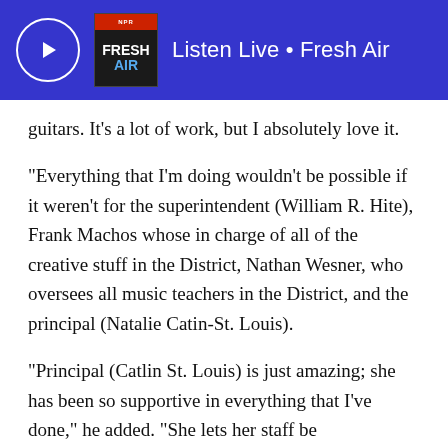Listen Live • Fresh Air
guitars. It's a lot of work, but I absolutely love it.
“Everything that I’m doing wouldn’t be possible if it weren’t for the superintendent (William R. Hite), Frank Machos whose in charge of all of the creative stuff in the District, Nathan Wesner, who oversees all music teachers in the District, and the principal (Natalie Catin-St. Louis).
“Principal (Catlin St. Louis) is just amazing; she has been so supportive in everything that I’ve done,” he added. “She lets her staff be professionals. The morale in this building is through the roof. Everyone loves it here. The kids are thriving. We have a very high attendance rate. We have strong music, art, and STEM programs. We’re doing some